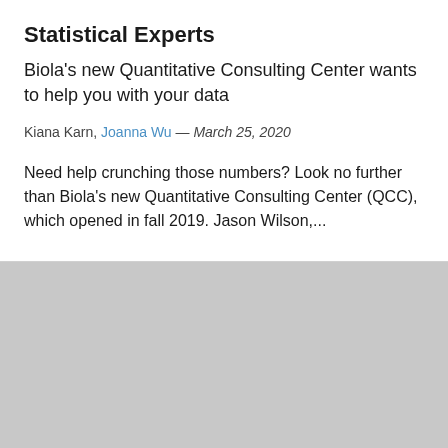Statistical Experts
Biola's new Quantitative Consulting Center wants to help you with your data
Kiana Karn, Joanna Wu — March 25, 2020
Need help crunching those numbers? Look no further than Biola's new Quantitative Consulting Center (QCC), which opened in fall 2019. Jason Wilson,...